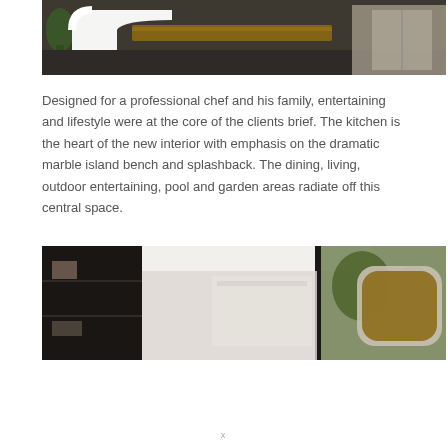[Figure (photo): Interior design photo showing a modern kitchen area with white curved furniture, wooden bench, dark slate floor, plants, and cabinetry]
Designed for a professional chef and his family, entertaining and lifestyle were at the core of the clients brief. The kitchen is the heart of the new interior with emphasis on the dramatic marble island bench and splashback. The dining, living, outdoor entertaining, pool and garden areas radiate off this central space.
[Figure (photo): Interior design photo showing a modern open-plan kitchen and living space with dark cabinetry, high white ceiling, glass walls opening to garden, and rounded wooden accent feature]
x